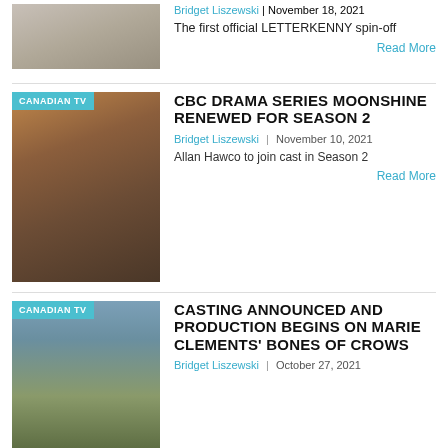[Figure (photo): Partial top article thumbnail - person in grey/white]
Bridget Liszewski | November 18, 2021
The first official LETTERKENNY spin-off
Read More
[Figure (photo): Group of young people sitting on a couch, CBC drama Moonshine cast, with CANADIAN TV badge]
CBC DRAMA SERIES MOONSHINE RENEWED FOR SEASON 2
Bridget Liszewski | November 10, 2021
Allan Hawco to join cast in Season 2
Read More
[Figure (photo): Person standing in a field with dramatic sky, with CANADIAN TV badge]
CASTING ANNOUNCED AND PRODUCTION BEGINS ON MARIE CLEMENTS' BONES OF CROWS
Bridget Liszewski | October 27, 2021